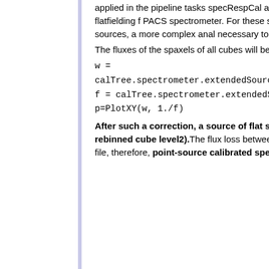applied in the pipeline tasks specRespCal and specRespCalToTelescope), and this incorporates the necessary correction as part of the spatial flatfielding for PACS spectrometer. For these sources, the fluxes of the spectra will differ to what was obtained in previous versions of HIPE. For intermediate sources, a more complex analysis is necessary to estimate the flux loss, and a task to do this will be provided in HIPE 15.
The fluxes of the spaxels of all cubes will be increased by ~30% in the blue to ~5% in the red. The calibration file can be inspected to extract the curve:
After such a correction, a source of flat surface brightness within the field of view of a single point will be well calibrated at the level of the rebinned cube (level2). The flux loss between the detectors was already accounted for in the point-source calibration correction in the correspondent calibration file, therefore, point-source calibrated spectra of centred point sources are no...